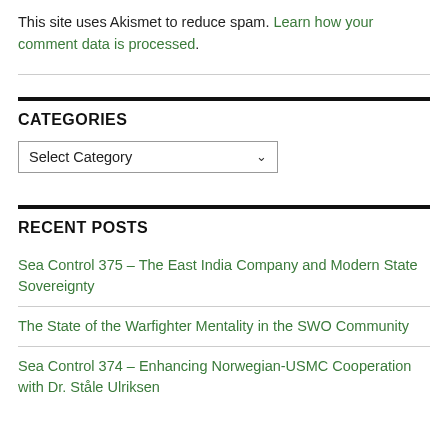This site uses Akismet to reduce spam. Learn how your comment data is processed.
CATEGORIES
Select Category
RECENT POSTS
Sea Control 375 – The East India Company and Modern State Sovereignty
The State of the Warfighter Mentality in the SWO Community
Sea Control 374 – Enhancing Norwegian-USMC Cooperation with Dr. Ståle Ulriksen